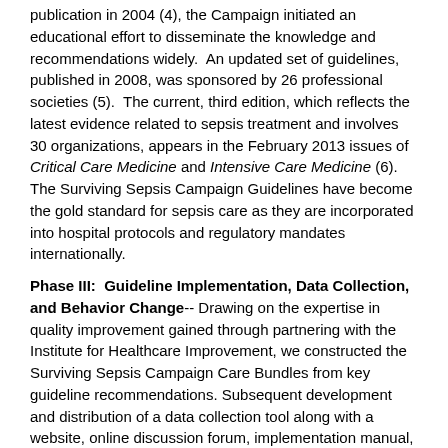publication in 2004 (4), the Campaign initiated an educational effort to disseminate the knowledge and recommendations widely.  An updated set of guidelines, published in 2008, was sponsored by 26 professional societies (5).  The current, third edition, which reflects the latest evidence related to sepsis treatment and involves 30 organizations, appears in the February 2013 issues of Critical Care Medicine and Intensive Care Medicine (6). The Surviving Sepsis Campaign Guidelines have become the gold standard for sepsis care as they are incorporated into hospital protocols and regulatory mandates internationally.
Phase III:  Guideline Implementation, Data Collection, and Behavior Change-- Drawing on the expertise in quality improvement gained through partnering with the Institute for Healthcare Improvement, we constructed the Surviving Sepsis Campaign Care Bundles from key guideline recommendations. Subsequent development and distribution of a data collection tool along with a website, online discussion forum, implementation manual, newsletter, and a series of educational meetings enabled local and regional networks of hospitals worldwide to document and improve performance.